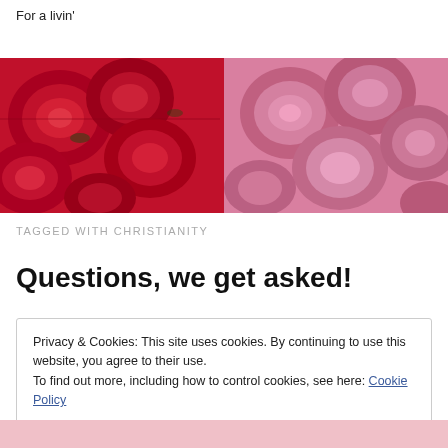For a livin'
[Figure (photo): A close-up photo showing red roses on the left and pink roses on the right filling the entire banner area.]
TAGGED WITH CHRISTIANITY
Questions, we get asked!
Privacy & Cookies: This site uses cookies. By continuing to use this website, you agree to their use.
To find out more, including how to control cookies, see here: Cookie Policy
Close and accept